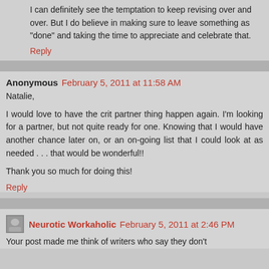I can definitely see the temptation to keep revising over and over. But I do believe in making sure to leave something as "done" and taking the time to appreciate and celebrate that.
Reply
Anonymous  February 5, 2011 at 11:58 AM
Natalie,
I would love to have the crit partner thing happen again. I'm looking for a partner, but not quite ready for one. Knowing that I would have another chance later on, or an on-going list that I could look at as needed . . . that would be wonderful!!
Thank you so much for doing this!
Reply
Neurotic Workaholic  February 5, 2011 at 2:46 PM
Your post made me think of writers who say they don't